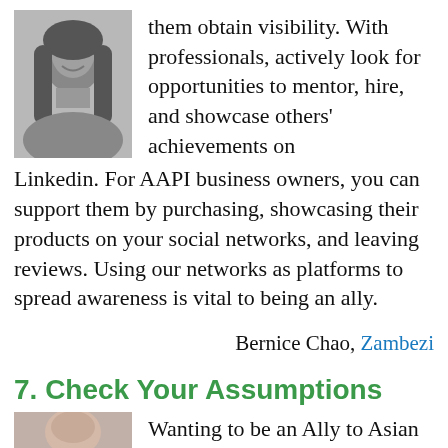[Figure (photo): Black and white portrait photo of a woman with long hair, smiling]
them obtain visibility. With professionals, actively look for opportunities to mentor, hire, and showcase others' achievements on Linkedin. For AAPI business owners, you can support them by purchasing, showcasing their products on your social networks, and leaving reviews. Using our networks as platforms to spread awareness is vital to being an ally.
Bernice Chao, Zambezi
7. Check Your Assumptions
[Figure (photo): Partial color portrait photo of a person, bottom portion visible]
Wanting to be an Ally to Asian